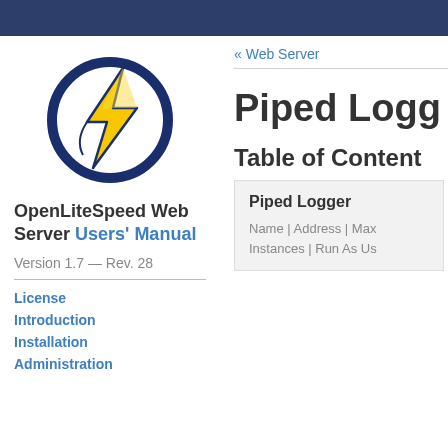[Figure (logo): OpenLiteSpeed logo: dark blue circle with yellow lightning bolt inside]
OpenLiteSpeed Web Server Users' Manual
Version 1.7 — Rev. 28
License
Introduction
Installation
Administration
« Web Server
Piped Logger
Table of Contents
| Piped Logger |
| Name | Address | Max Instances | Run As User |